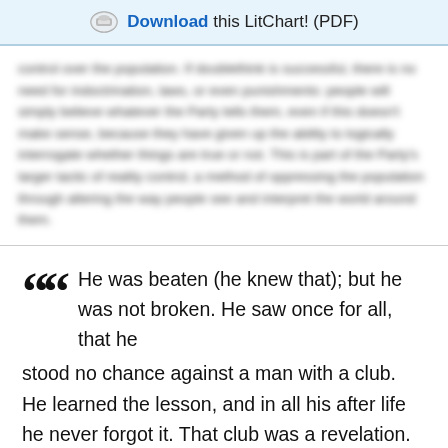Download this LitChart! (PDF)
control over the population. If doublethink is successful, there is no need for indoctrination, laws, or even punishments: people will simply believe whatever the Party tells them, even if this doesn't make sense, because they have given up the ability to logically interrogate whether things are true or not. This is part of the Party's larger tactic of reality control, a method of oppressing the population through altering the way people see and interpret the world around them.
He was beaten (he knew that); but he was not broken. He saw once for all, that he stood no chance against a man with a club. He learned the lesson, and in all his after life he never forgot it. That club was a revelation. It was his